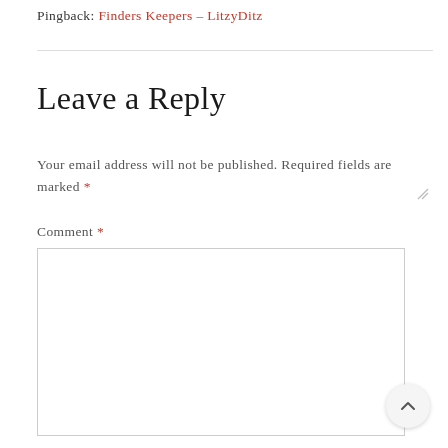Pingback: Finders Keepers – LitzyDitz
Leave a Reply
Your email address will not be published. Required fields are marked *
Comment *